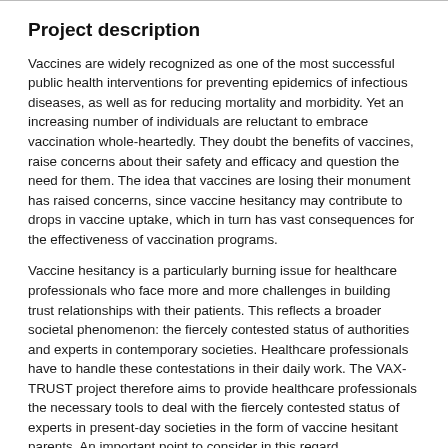Project description
Vaccines are widely recognized as one of the most successful public health interventions for preventing epidemics of infectious diseases, as well as for reducing mortality and morbidity. Yet an increasing number of individuals are reluctant to embrace vaccination whole-heartedly. They doubt the benefits of vaccines, raise concerns about their safety and efficacy and question the need for them. The idea that vaccines are losing their monument has raised concerns, since vaccine hesitancy may contribute to drops in vaccine uptake, which in turn has vast consequences for the effectiveness of vaccination programs.
Vaccine hesitancy is a particularly burning issue for healthcare professionals who face more and more challenges in building trust relationships with their patients. This reflects a broader societal phenomenon: the fiercely contested status of authorities and experts in contemporary societies. Healthcare professionals have to handle these contestations in their daily work. The VAX-TRUST project therefore aims to provide healthcare professionals the necessary tools to deal with the fiercely contested status of experts in present-day societies in the form of vaccine hesitant parents. An important point to consider in this regard